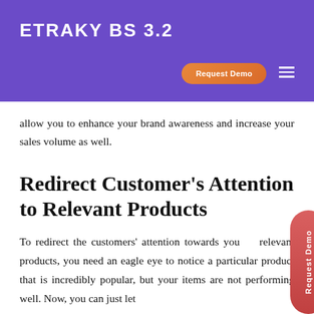ETRAKY BS 3.2
allow you to enhance your brand awareness and increase your sales volume as well.
Redirect Customer's Attention to Relevant Products
To redirect the customers' attention towards your relevant products, you need an eagle eye to notice a particular product that is incredibly popular, but your items are not performing well. Now, you can just let